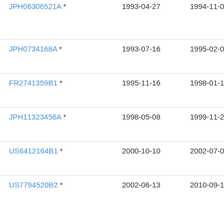| Patent Number | Filing Date | Publication Date | Assignee |
| --- | --- | --- | --- |
| JPH06306521A * | 1993-04-27 | 1994-11-01 | Nip Co |
| JPH0734168A * | 1993-07-16 | 1995-02-03 | Toy |
| FR2741359B1 * | 1995-11-16 | 1998-01-16 | Gr |
| JPH11323456A * | 1998-05-08 | 1999-11-26 | Kob |
| US6412164B1 * | 2000-10-10 | 2002-07-02 | Alc |
| US7794520B2 * | 2002-06-13 | 2010-09-14 | Tou Res Lab |